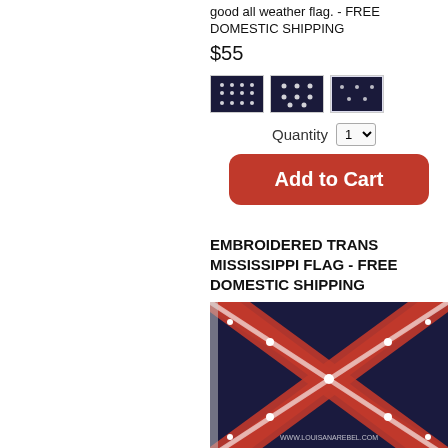good all weather flag. - FREE DOMESTIC SHIPPING
$55
[Figure (photo): Three small thumbnail images of a dark blue flag with white stars]
Quantity 1
Add to Cart
EMBROIDERED TRANS MISSISSIPPI FLAG - FREE DOMESTIC SHIPPING
[Figure (photo): A Confederate Battle Flag (Trans-Mississippi) in red and blue with white stars on an X cross pattern, with watermark www.louisanarebel.com]
This is a new 3 feet by 5 feet 600D flag with sewn stripes and embroidered